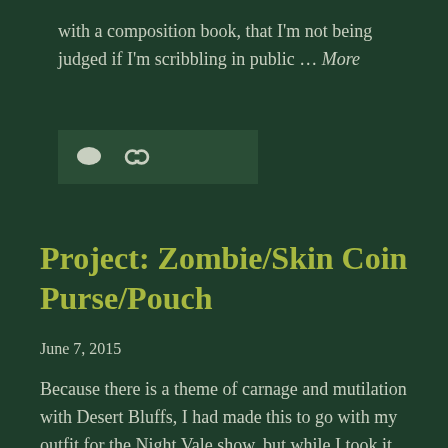with a composition book, that I'm not being judged if I'm scribbling in public … More
[Figure (other): Icon bar with comment bubble and chain link icons on dark green background]
Project: Zombie/Skin Coin Purse/Pouch
June 7, 2015
Because there is a theme of carnage and mutilation with Desert Bluffs, I had made this to go with my outfit for the Night Vale show, but while I took it with me it didn't get showcased much. Mostly, this was because the pockets in the coat puffed out in a bad way with it … More